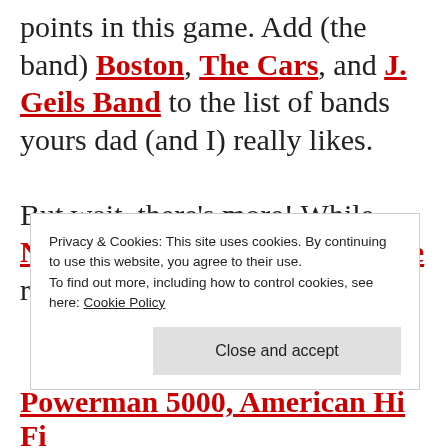points in this game. Add (the band) Boston, The Cars, and J. Geils Band to the list of bands yours dad (and I) really likes.

But wait, there's more! While New Edition and Bell Biv Devoe rocked your oversized boom b...
Privacy & Cookies: This site uses cookies. By continuing to use this website, you agree to their use.
To find out more, including how to control cookies, see here: Cookie Policy
Close and accept
Powerman 5000, American Hi Fi...